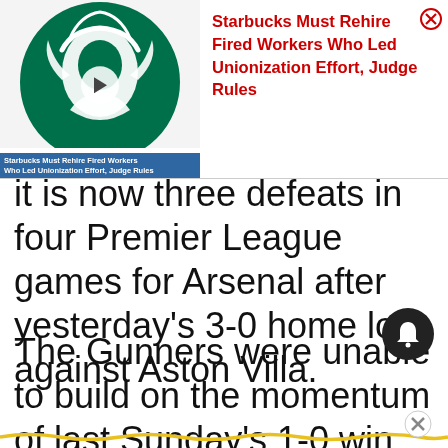[Figure (screenshot): Ad banner overlay showing Starbucks logo on left with video thumbnail and caption 'Starbucks Must Rehire Fired Workers Who Led Unionization Effort, Judge Rules', and red text headline on right with close button]
it is now three defeats in four Premier League games for Arsenal after yesterday's 3-0 home loss against Aston Villa.
The Gunners were unable to build on the momentum of last Sunday's 1-0 win over Manchester United at Old Trafford as they were ripped apart on their own turf